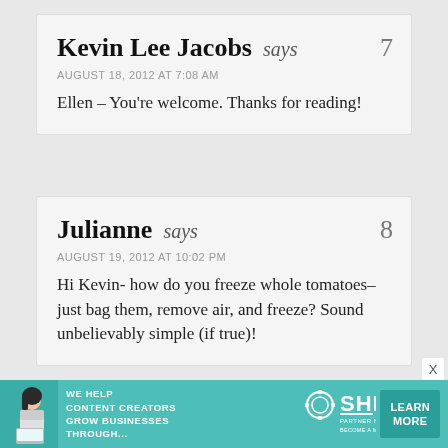Kevin Lee Jacobs says  7
AUGUST 18, 2012 AT 7:08 AM
Ellen – You're welcome. Thanks for reading!
Julianne says  8
AUGUST 19, 2012 AT 10:02 PM
Hi Kevin- how do you freeze whole tomatoes–just bag them, remove air, and freeze? Sound unbelievably simple (if true)!
[Figure (infographic): SHE Media Partner Network advertisement banner with photo of woman, text 'WE HELP CONTENT CREATORS GROW BUSINESSES THROUGH...', SHE logo, and 'LEARN MORE' button]